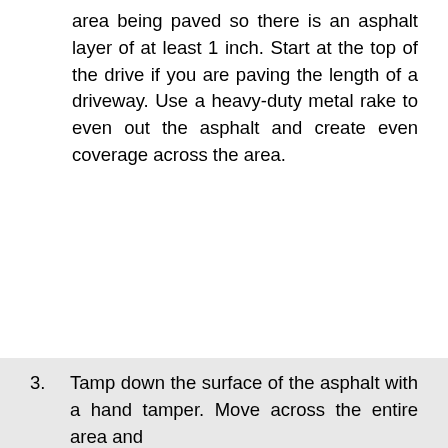area being paved so there is an asphalt layer of at least 1 inch. Start at the top of the drive if you are paving the length of a driveway. Use a heavy-duty metal rake to even out the asphalt and create even coverage across the area.
3. Tamp down the surface of the asphalt with a hand tamper. Move across the entire area and